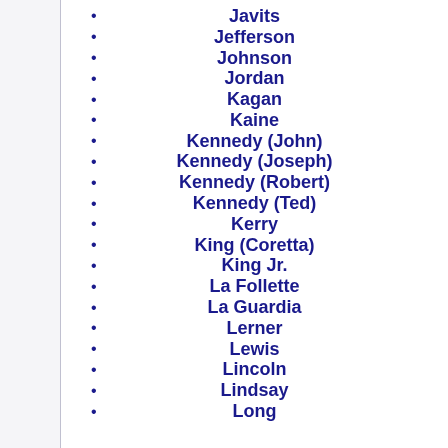Javits
Jefferson
Johnson
Jordan
Kagan
Kaine
Kennedy (John)
Kennedy (Joseph)
Kennedy (Robert)
Kennedy (Ted)
Kerry
King (Coretta)
King Jr.
La Follette
La Guardia
Lerner
Lewis
Lincoln
Lindsay
Long